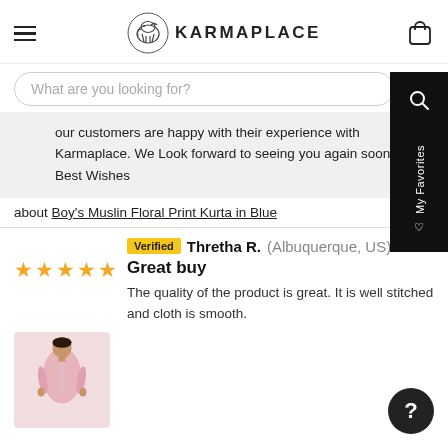KARMAPLACE
What are you looking for?
our customers are happy with their experience with Karmaplace. We Look forward to seeing you again soon. Best Wishes
about Boy's Muslin Floral Print Kurta in Blue
Verified Thretha R. (Albuquerque, US)
Great buy
The quality of the product is great. It is well stitched and cloth is smooth.
[Figure (photo): Product photo of a man wearing a pink kurta]